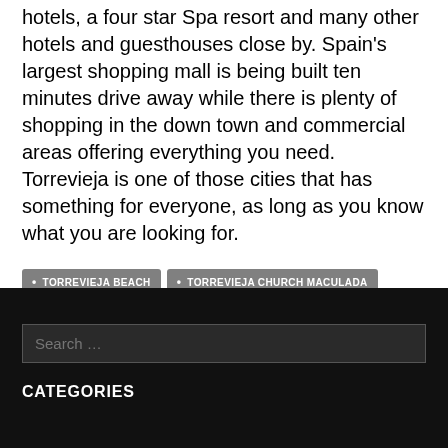hotels, a four star Spa resort and many other hotels and guesthouses close by. Spain's largest shopping mall is being built ten minutes drive away while there is plenty of shopping in the down town and commercial areas offering everything you need. Torrevieja is one of those cities that has something for everyone, as long as you know what you are looking for.
TORREVIEJA BEACH
TORREVIEJA CHURCH MACULADA
TORREVIEJA FIESTA GIGANTES
TORREVIEJA MARINA
TORREVIEJA MONUMENTO CORALISTA
Search …
CATEGORIES